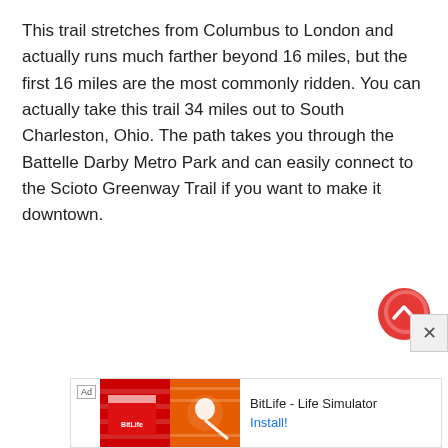This trail stretches from Columbus to London and actually runs much farther beyond 16 miles, but the first 16 miles are the most commonly ridden. You can actually take this trail 34 miles out to South Charleston, Ohio. The path takes you through the Battelle Darby Metro Park and can easily connect to the Scioto Greenway Trail if you want to make it downtown.
[Figure (other): Red circular scroll-to-top button with upward chevron arrow]
[Figure (other): Close button (X) in light gray square]
[Figure (other): Advertisement banner for BitLife - Life Simulator game showing Ad label, game imagery with red/green soccer jersey and sperm cell logo, app title and Install button]